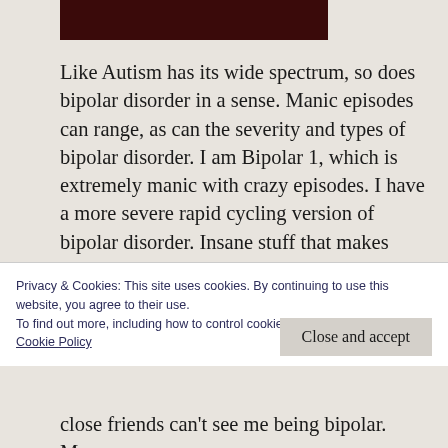[Figure (photo): Dark maroon/dark red rectangular image block at top of page]
Like Autism has its wide spectrum, so does bipolar disorder in a sense. Manic episodes can range, as can the severity and types of bipolar disorder. I am Bipolar 1, which is extremely manic with crazy episodes. I have a more severe rapid cycling version of bipolar disorder. Insane stuff that makes Silver Linings Playbook look exceedingly tame. When left untreated, these episodes happen more frequently and can scar
Privacy & Cookies: This site uses cookies. By continuing to use this website, you agree to their use.
To find out more, including how to control cookies, see here:
Cookie Policy
Close and accept
close friends can't see me being bipolar. Many